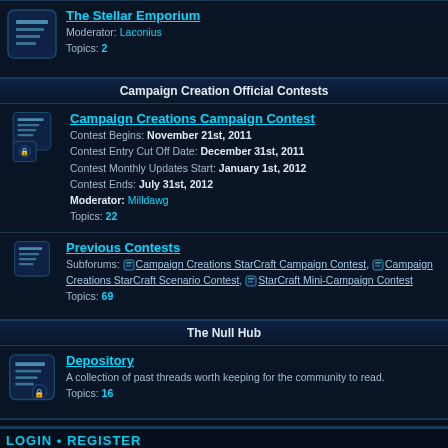The Stellar Emporium
Moderator: Laconius
Topics: 2
Campaign Creation Official Contests
Campaign Creations Campaign Contest
Contest Begins: November 21st, 2011
Contest Entry Cut Off Date: December 31st, 2011
Contest Monthly Updates Start: January 1st, 2012
Contest Ends: July 31st, 2012
Moderator: Milldawg
Topics: 22
Previous Contests
Subforums: Campaign Creations StarCraft Campaign Contest, Campaign Creations StarCraft Scenario Contest, StarCraft Mini-Campaign Contest
Topics: 69
The Null Hub
Depository
A collection of past threads worth keeping for the community to read.
Topics: 16
LOGIN • REGISTER
Username:
Password: